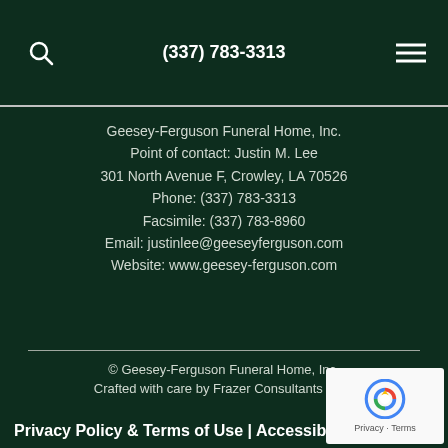(337) 783-3313
Geesey-Ferguson Funeral Home, Inc.
Point of contact: Justin M. Lee
301 North Avenue F, Crowley, LA 70526
Phone: (337) 783-3313
Facsimile: (337) 783-8960
Email: justinlee@geeseyferguson.com
Website: www.geesey-ferguson.com
© Geesey-Ferguson Funeral Home, Inc.
Crafted with care by Frazer Consultants & TA
Privacy Policy & Terms of Use | Accessibility